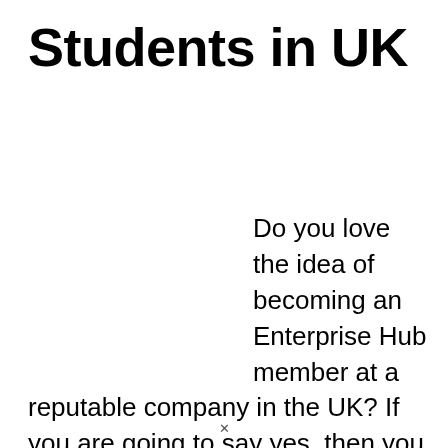Students in UK
Do you love the idea of becoming an Enterprise Hub member at a reputable company in the UK? If you are going to say yes, then you must consider the Enterprise Fellowships program organized by the Royal Academy of Engineering in the UK. This opportunity is activated with the purpose of supporting innovation, creatio...